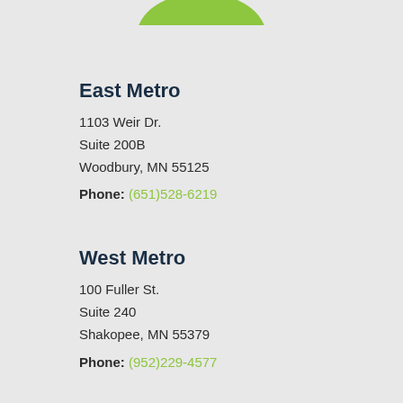[Figure (logo): Green logo partially visible at top center of page]
East Metro
1103 Weir Dr.
Suite 200B
Woodbury, MN 55125
Phone: (651)528-6219
West Metro
100 Fuller St.
Suite 240
Shakopee, MN 55379
Phone: (952)229-4577